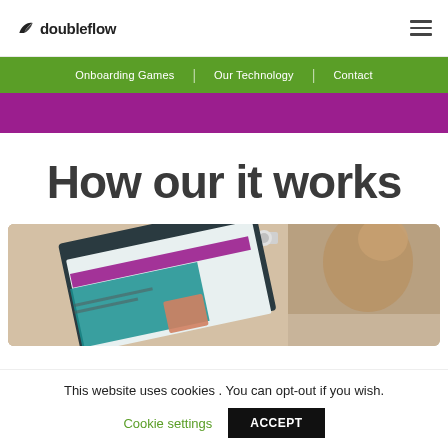doubleflow — navigation with hamburger menu
Onboarding Games | Our Technology | Contact
How our it works
[Figure (photo): Photo of a person sitting at a laptop/tablet showing a website with a purple/teal interface, with a webcam visible on top of the screen]
This website uses cookies . You can opt-out if you wish.
Cookie settings
ACCEPT